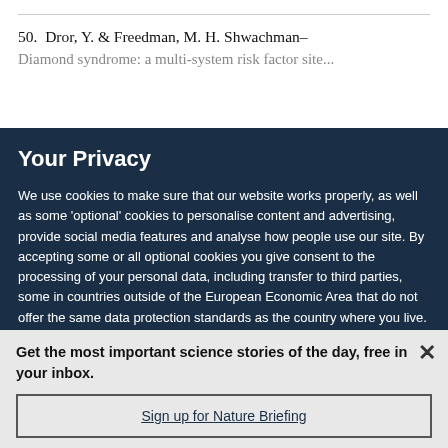50.  Dror, Y. & Freedman, M. H. Shwachman-Diamond syndrome: a multi-system risk factor for...
Your Privacy
We use cookies to make sure that our website works properly, as well as some 'optional' cookies to personalise content and advertising, provide social media features and analyse how people use our site. By accepting some or all optional cookies you give consent to the processing of your personal data, including transfer to third parties, some in countries outside of the European Economic Area that do not offer the same data protection standards as the country where you live. You can decide which optional cookies to accept by clicking on 'Manage Settings', where you can
Get the most important science stories of the day, free in your inbox.
Sign up for Nature Briefing